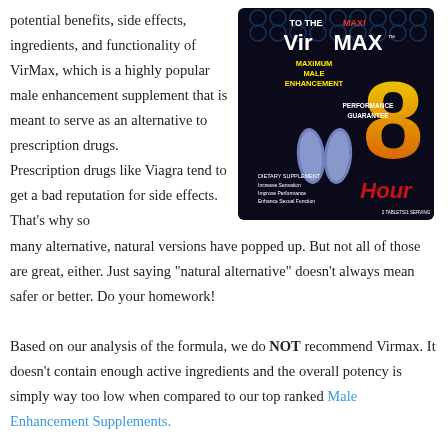potential benefits, side effects, ingredients, and functionality of VirMax, which is a highly popular male enhancement supplement that is meant to serve as an alternative to prescription drugs. Prescription drugs like Viagra tend to get a bad reputation for side effects. That’s why so many alternative, natural versions have popped up. But not all of those are great, either. Just saying “natural alternative” doesn’t always mean safer or better. Do your homework!
[Figure (photo): Product packaging for VirMax Maximum Male Enhancement 8 Hour dietary supplement, showing two blue tablets and text: PERFORMANCE GUARANTEE, Increase Sensation, Improve Performance, Enhance Sexual Function, 2 TABLETS/1 SERVING]
Based on our analysis of the formula, we do NOT recommend Virmax. It doesn’t contain enough active ingredients and the overall potency is simply way too low when compared to our top ranked Male Enhancement Supplements.